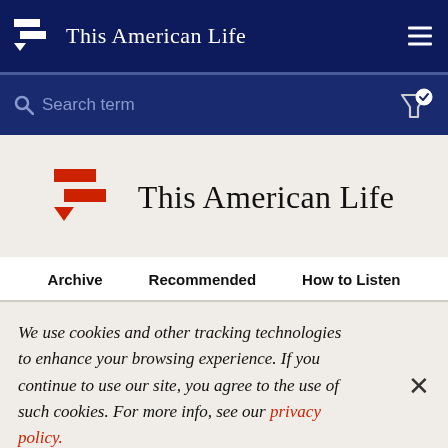This American Life
[Figure (screenshot): Search bar with magnifying glass icon and placeholder text 'Search term', with a filter/checkmark icon on the right]
[Figure (logo): This American Life logo in red with text 'This American Life']
Archive   Recommended   How to Listen
We use cookies and other tracking technologies to enhance your browsing experience. If you continue to use our site, you agree to the use of such cookies. For more info, see our privacy policy.